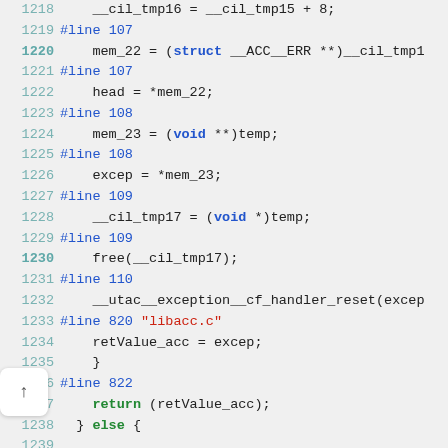[Figure (screenshot): Source code viewer showing C code lines 1218-1247 with syntax highlighting. Line numbers in teal, keywords in blue/green, string literals in red, code in black, on a light gray background.]